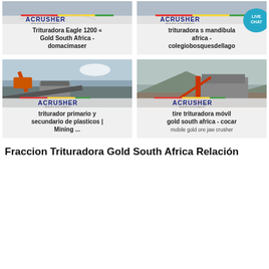[Figure (screenshot): Card: Trituradora Eagle 1200 Gold South Africa - domacimaser with Acrusher mining equipment logo]
[Figure (screenshot): Card: trituradora s mandibula africa - colegiobosquesdellago with Acrusher mining equipment logo and Live Chat bubble]
[Figure (photo): Card: triturador primario y secundario de plasticos | Mining ... with excavator and crusher equipment photo and Acrusher logo]
[Figure (photo): Card: tire trituradora móvil gold south africa - cocar with mobile gold ore jaw crusher photo and Acrusher logo]
Fraccion Trituradora Gold South Africa Relación